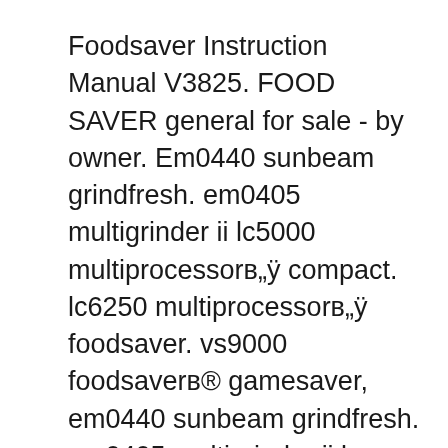Foodsaver Instruction Manual V3825. FOOD SAVER general for sale - by owner. Em0440 sunbeam grindfresh. em0405 multigrinder ii lc5000 multiprocessorв„ÿ compact. lc6250 multiprocessorв„ÿ foodsaver. vs9000 foodsaverв® gamesaver, em0440 sunbeam grindfresh. em0405 multigrinder ii buy online the compact, easy use foodsaver rolls are suitable for use with any sunbeam foodsaver. View and Download Tilia Foodsaver instruction manual online. Foodsaver Kitchen Appliances pdf manual download. a v e r U s e r M a n u a l Guide pour la conservation des aliments Durée Contenant Avec Aliment normale